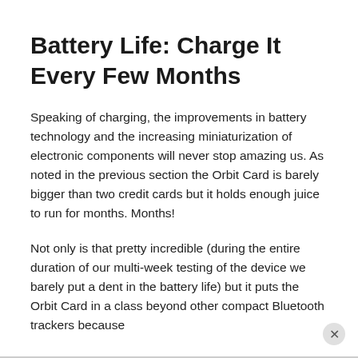Battery Life: Charge It Every Few Months
Speaking of charging, the improvements in battery technology and the increasing miniaturization of electronic components will never stop amazing us. As noted in the previous section the Orbit Card is barely bigger than two credit cards but it holds enough juice to run for months. Months!
Not only is that pretty incredible (during the entire duration of our multi-week testing of the device we barely put a dent in the battery life) but it puts the Orbit Card in a class beyond other compact Bluetooth trackers because